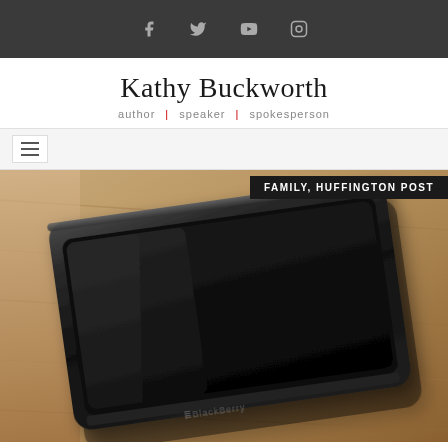Social icons: Facebook, Twitter, YouTube, Instagram
Kathy Buckworth
author | speaker | spokesperson
[Figure (other): Hamburger menu icon (three horizontal lines) in a nav bar]
FAMILY, HUFFINGTON POST
[Figure (photo): A BlackBerry smartphone lying face-up on a wooden surface, with a dark/black screen showing the BlackBerry logo at the bottom]